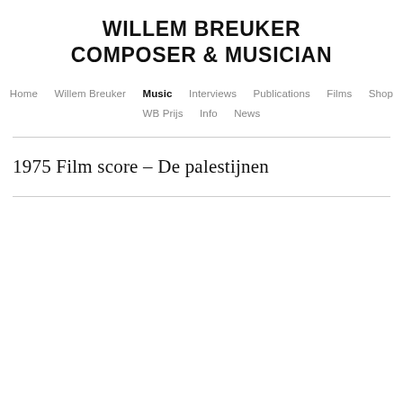WILLEM BREUKER COMPOSER & MUSICIAN
Home   Willem Breuker   Music   Interviews   Publications   Films   Shop   WB Prijs   Info   News
1975 Film score – De palestijnen